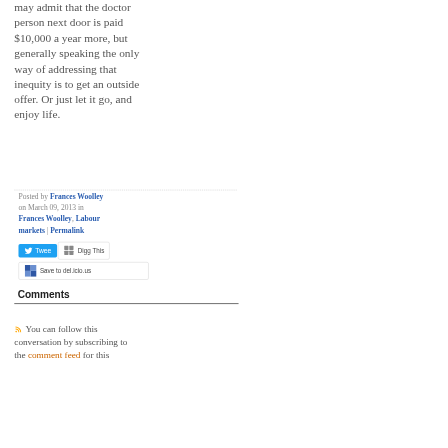person next door is paid $10,000 a year more, but generally speaking the only way of addressing that inequity is to get an outside offer. Or just let it go, and enjoy life.
Posted by Frances Woolley on March 09, 2013 in Frances Woolley, Labour markets | Permalink
[Figure (other): Social sharing buttons: Tweet (Twitter), Digg This, Save to del.icio.us]
Comments
You can follow this conversation by subscribing to the comment feed for this